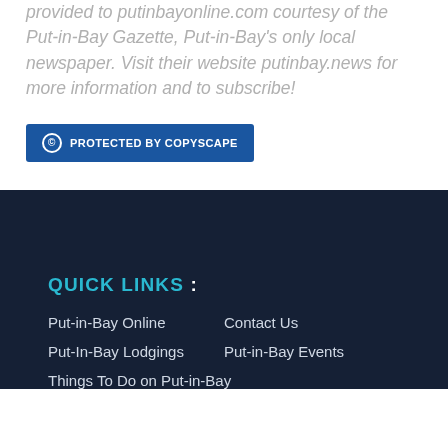provided to putinbayonline.com courtesy of the Put-in-Bay Gazette, Put-in-Bay's only local newspaper. Visit their website putinbay.news for more information and to subscribe!
© PROTECTED BY COPYSCAPE
QUICK LINKS :
Put-in-Bay Online
Contact Us
Put-In-Bay Lodgings
Put-in-Bay Events
Things To Do on Put-in-Bay